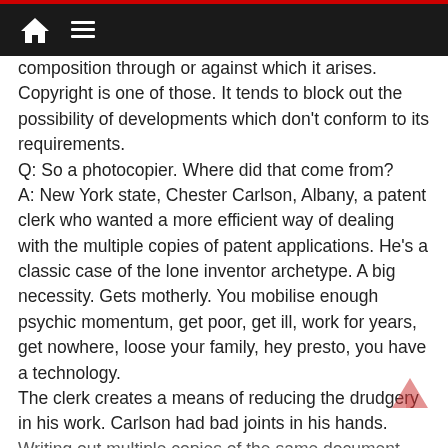composition through or against which it arises. Copyright is one of those. It tends to block out the possibility of developments which don't conform to its requirements.
Q: So a photocopier. Where did that come from?
A: New York state, Chester Carlson, Albany, a patent clerk who wanted a more efficient way of dealing with the multiple copies of patent applications. He's a classic case of the lone inventor archetype. A big necessity. Gets motherly. You mobilise enough psychic momentum, get poor, get ill, work for years, get nowhere, loose your family, hey presto, you have a technology.
The clerk creates a means of reducing the drudgery in his work. Carlson had bad joints in his hands. Writing out multiple copies of the same document...